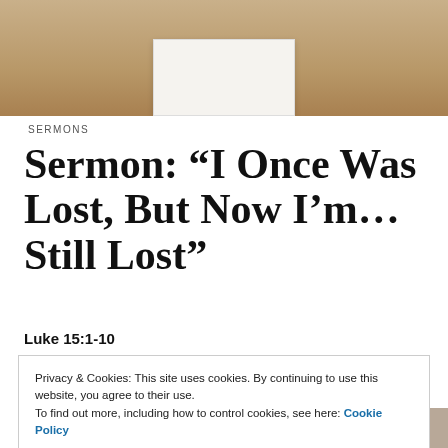[Figure (photo): Photo of a white box/book on a brown burlap textured surface]
SERMONS
Sermon: “I Once Was Lost, But Now I’m…Still Lost”
Luke 15:1-10
Privacy & Cookies: This site uses cookies. By continuing to use this website, you agree to their use.
To find out more, including how to control cookies, see here: Cookie Policy
Close and accept
It started